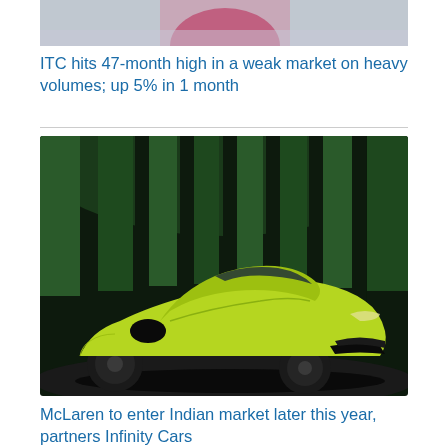[Figure (photo): Partial photo of a person in pink clothing, cropped at top — blurred background]
ITC hits 47-month high in a weak market on heavy volumes; up 5% in 1 month
[Figure (photo): A bright yellow-green McLaren supercar displayed on a rotating platform in a dark showroom with green-lit pillars in the background]
McLaren to enter Indian market later this year, partners Infinity Cars